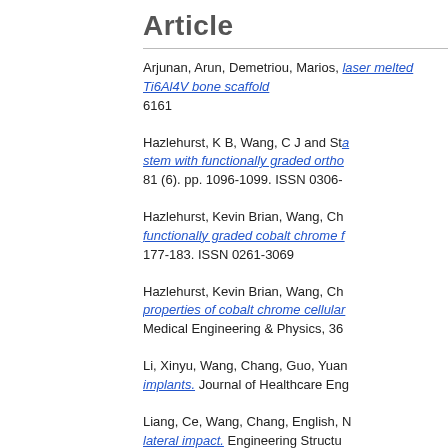Article
Arjunan, Arun, Demetriou, Marios, ... laser melted Ti6Al4V bone scaffold... 6161
Hazlehurst, K B, Wang, C J and Sta... stem with functionally graded ortho... 81 (6). pp. 1096-1099. ISSN 0306-...
Hazlehurst, Kevin Brian, Wang, Ch... functionally graded cobalt chrome f... 177-183. ISSN 0261-3069
Hazlehurst, Kevin Brian, Wang, Ch... properties of cobalt chrome cellular... Medical Engineering & Physics, 36
Li, Xinyu, Wang, Chang, Guo, Yuan... implants. Journal of Healthcare Eng...
Liang, Ce, Wang, Chang, English, ... lateral impact. Engineering Structu...
Liang, Huixin, Yang, Youwen, Xie, D... Lide (2019) Trabecular like Ti6Al4...